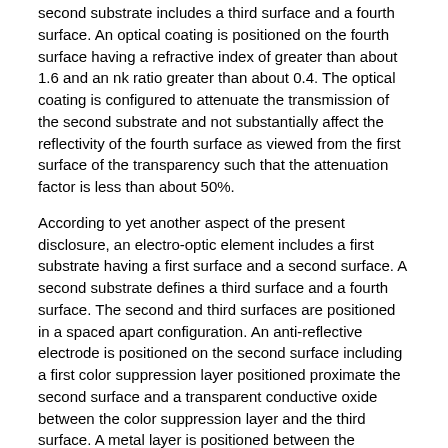second substrate includes a third surface and a fourth surface. An optical coating is positioned on the fourth surface having a refractive index of greater than about 1.6 and an nk ratio greater than about 0.4. The optical coating is configured to attenuate the transmission of the second substrate and not substantially affect the reflectivity of the fourth surface as viewed from the first surface of the transparency such that the attenuation factor is less than about 50%.
According to yet another aspect of the present disclosure, an electro-optic element includes a first substrate having a first surface and a second surface. A second substrate defines a third surface and a fourth surface. The second and third surfaces are positioned in a spaced apart configuration. An anti-reflective electrode is positioned on the second surface including a first color suppression layer positioned proximate the second surface and a transparent conductive oxide between the color suppression layer and the third surface. A metal layer is positioned between the transparent conductive oxide and the third surface. A reflectance as viewed through first substrate is about 1% or less.
These and other features, advantages, and objects of the present disclosure will be further understood and appreciated by those skilled in the art by reference to the following specification, claims, and appended drawings.
According to a first aspect, a transparency includes a first substrate having